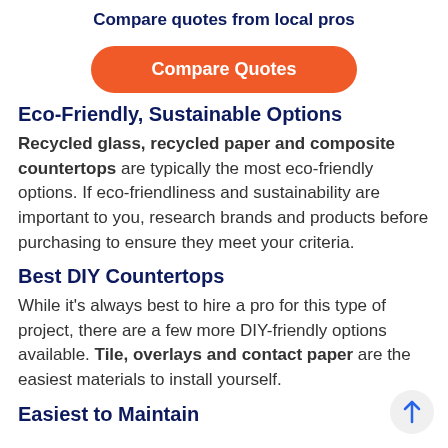Compare quotes from local pros
[Figure (other): Orange pill-shaped button with white text 'Compare Quotes']
Eco-Friendly, Sustainable Options
Recycled glass, recycled paper and composite countertops are typically the most eco-friendly options. If eco-friendliness and sustainability are important to you, research brands and products before purchasing to ensure they meet your criteria.
Best DIY Countertops
While it's always best to hire a pro for this type of project, there are a few more DIY-friendly options available. Tile, overlays and contact paper are the easiest materials to install yourself.
Easiest to Maintain